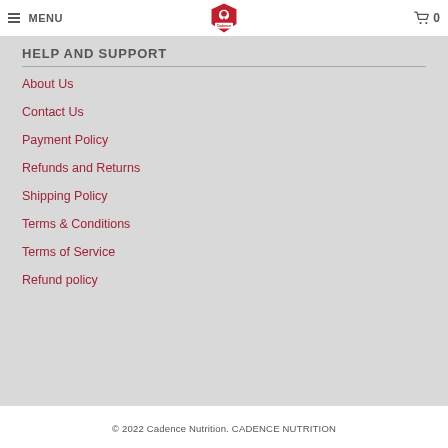MENU | Cadence Nutrition Logo | 0
HELP AND SUPPORT
About Us
Contact Us
Payment Policy
Refunds and Returns
Shipping Policy
Terms & Conditions
Terms of Service
Refund policy
© 2022 Cadence Nutrition. CADENCE NUTRITION